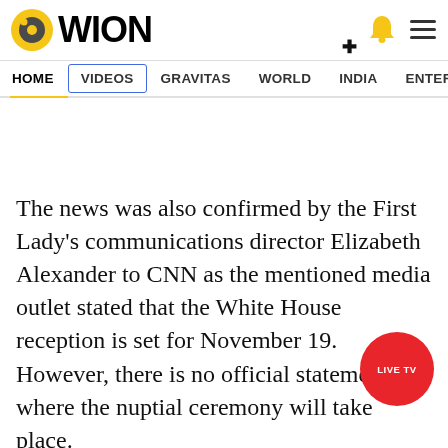[Figure (logo): WION news logo with circular icon on the left and bell and hamburger menu icons on the right]
HOME  VIDEOS  GRAVITAS  WORLD  INDIA  ENTERTAINMENT  SPORTS
The news was also confirmed by the First Lady's communications director Elizabeth Alexander to CNN as the mentioned media outlet stated that the White House reception is set for November 19. However, there is no official statement on where the nuptial ceremony will take place.
[Figure (other): LIVE TV red circular button overlay]